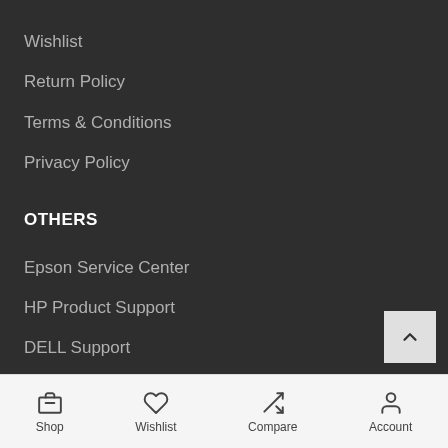Wishlist
Return Policy
Terms & Conditions
Privacy Policy
OTHERS
Epson Service Center
HP Product Support
DELL Support
Acer Customer Support
Fujitsu Product Support
Shop  Wishlist  Compare  Account